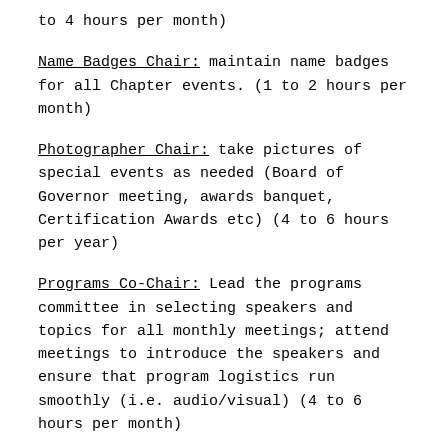to 4 hours per month)
Name Badges Chair: maintain name badges for all Chapter events. (1 to 2 hours per month)
Photographer Chair: take pictures of special events as needed (Board of Governor meeting, awards banquet, Certification Awards etc) (4 to 6 hours per year)
Programs Co-Chair: Lead the programs committee in selecting speakers and topics for all monthly meetings; attend meetings to introduce the speakers and ensure that program logistics run smoothly (i.e. audio/visual) (4 to 6 hours per month)
Programs committee: plan and arrange for